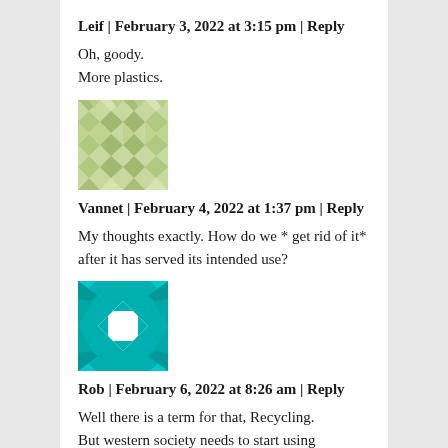Leif | February 3, 2022 at 3:15 pm | Reply
Oh, goody.
More plastics.
[Figure (illustration): Green and white geometric pattern avatar image for user Vannet]
Vannet | February 4, 2022 at 1:37 pm | Reply
My thoughts exactly. How do we * get rid of it* after it has served its intended use?
[Figure (illustration): Teal and white geometric pattern avatar image for user Rob]
Rob | February 6, 2022 at 8:26 am | Reply
Well there is a term for that, Recycling. But western society needs to start using